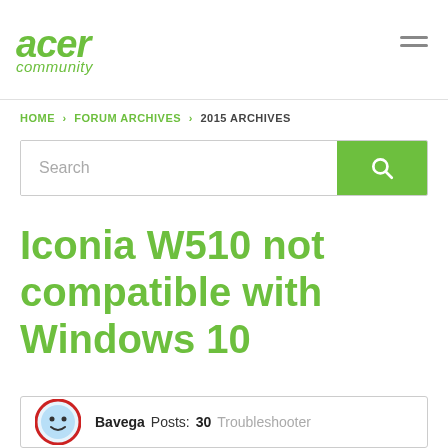[Figure (logo): Acer Community logo – green italic text 'acer' and 'community']
HOME › FORUM ARCHIVES › 2015 ARCHIVES
Search
Iconia W510 not compatible with Windows 10
Bavega  Posts: 30  Troubleshooter